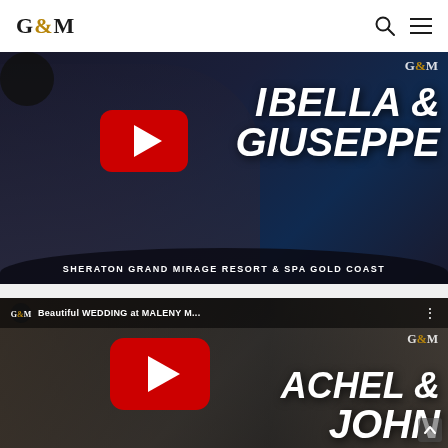G&M
[Figure (screenshot): Wedding video thumbnail for Isabella & Giuseppe at Sheraton Grand Mirage Resort & Spa Gold Coast, with YouTube play button overlay]
SHERATON GRAND MIRAGE RESORT & SPA GOLD COAST
[Figure (screenshot): Wedding video thumbnail for Rachel & John, Beautiful WEDDING at MALENY M..., with YouTube play button overlay]